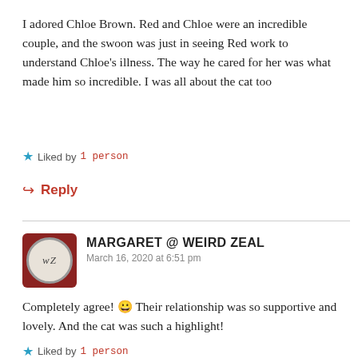I adored Chloe Brown. Red and Chloe were an incredible couple, and the swoon was just in seeing Red work to understand Chloe's illness. The way he cared for her was what made him so incredible. I was all about the cat too
★ Liked by 1 person
↳ Reply
MARGARET @ WEIRD ZEAL
March 16, 2020 at 6:51 pm
Completely agree! 😀 Their relationship was so supportive and lovely. And the cat was such a highlight!
★ Liked by 1 person